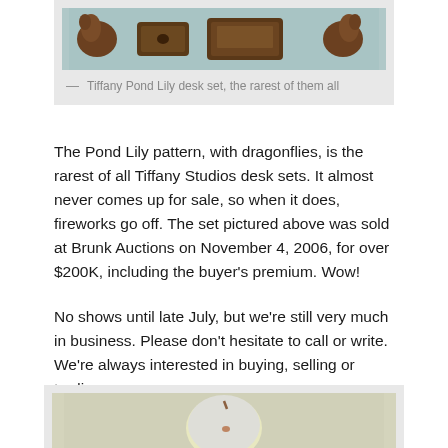[Figure (photo): Tiffany Pond Lily desk set pieces shown against a light blue-gray background — multiple bronze decorative desk accessories]
— Tiffany Pond Lily desk set, the rarest of them all
The Pond Lily pattern, with dragonflies, is the rarest of all Tiffany Studios desk sets. It almost never comes up for sale, so when it does, fireworks go off. The set pictured above was sold at Brunk Auctions on November 4, 2006, for over $200K, including the buyer's premium. Wow!
No shows until late July, but we're still very much in business. Please don't hesitate to call or write. We're always interested in buying, selling or trading.
[Figure (photo): A pale yellow-green apple or fruit-shaped decorative object photographed against a light background]